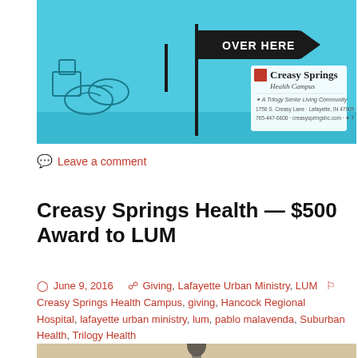[Figure (illustration): Advertisement banner for Creasy Springs Health Campus, a Trilogy Senior Living Community. Light blue background with cartoon illustration of boxes and shoes on left, a black directional arrow sign pointing right saying 'OVER HERE' in center, and the Creasy Springs Health Campus logo/text on right including address: 1750 S. Creasy Lane, Lafayette, IN 47905, 765-447-6600, creasyspringshc.com]
Leave a comment
Creasy Springs Health — $500 Award to LUM
June 9, 2016   Giving, Lafayette Urban Ministry, LUM   Creasy Springs Health Campus, giving, Hancock Regional Hospital, lafayette urban ministry, lum, pablo malavenda, Suburban Health, Trilogy Health
[Figure (photo): Bottom portion of another article image showing a tan/beige background with a black clock or trophy on a wooden surface]